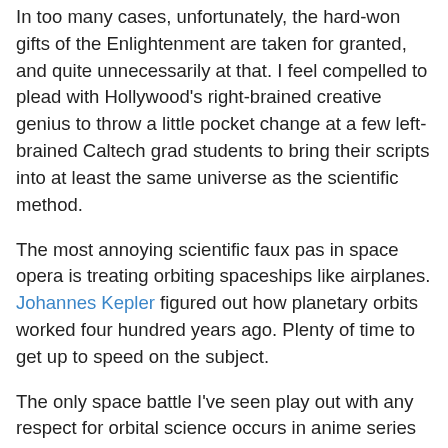In too many cases, unfortunately, the hard-won gifts of the Enlightenment are taken for granted, and quite unnecessarily at that. I feel compelled to plead with Hollywood's right-brained creative genius to throw a little pocket change at a few left-brained Caltech grad students to bring their scripts into at least the same universe as the scientific method.
The most annoying scientific faux pas in space opera is treating orbiting spaceships like airplanes. Johannes Kepler figured out how planetary orbits worked four hundred years ago. Plenty of time to get up to speed on the subject.
The only space battle I've seen play out with any respect for orbital science occurs in anime series Infinite Ryvius. (Unfortunately, the series is also quite realistic about what would happen if a bunch of teenagers took over a starship--namely, you'd end up with Lord of the Flies in space, which I found too painful to keep watching.)
The most jarring scientific moment in Star Trek has Kirk and Sulu parachuting from orbit onto Nero's "drill platform." As Isaac Newton demonstrated back in 1728 with his cannonball analogy, an object in orbit is literally in free fall.